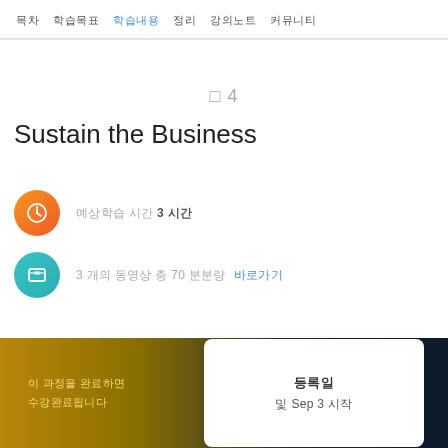목차  학습목표  학습내용  정리  강의노트  커뮤니티
□ 4
Sustain the Business
예상학습 시간 3 시간
3 개의 동영상 총 70 분분량  바로가기
이 과정을 완료하면 수강완료됩니다
등록일
및 Sep 3 시작